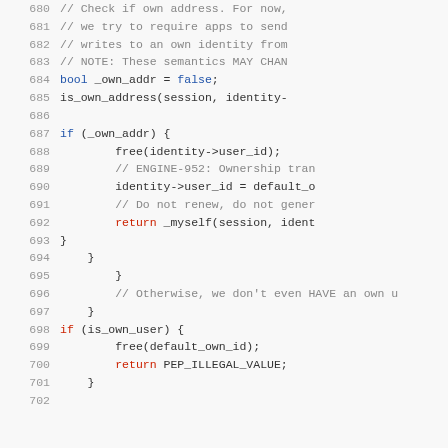[Figure (screenshot): Source code listing showing lines 680-702 of a C/C++ file. The code deals with checking own address, with comments in gray, keywords like bool/return/if in blue or red, and identifiers in dark text. Background is light gray.]